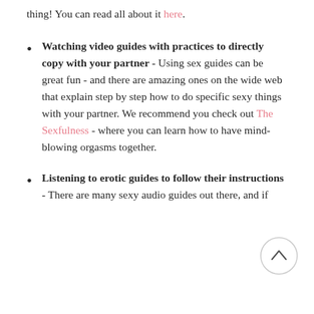thing! You can read all about it here.
Watching video guides with practices to directly copy with your partner - Using sex guides can be great fun - and there are amazing ones on the wide web that explain step by step how to do specific sexy things with your partner. We recommend you check out The Sexfulness - where you can learn how to have mind-blowing orgasms together.
Listening to erotic guides to follow their instructions - There are many sexy audio guides out there, and if